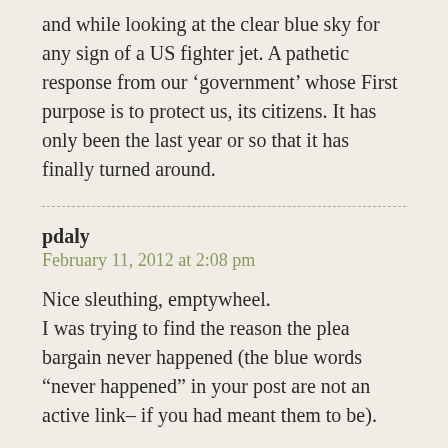and while looking at the clear blue sky for any sign of a US fighter jet. A pathetic response from our 'government' whose First purpose is to protect us, its citizens. It has only been the last year or so that it has finally turned around.
pdaly
February 11, 2012 at 2:08 pm
Nice sleuthing, emptywheel.
I was trying to find the reason the plea bargain never happened (the blue words "never happened" in your post are not an active link– if you had meant them to be).